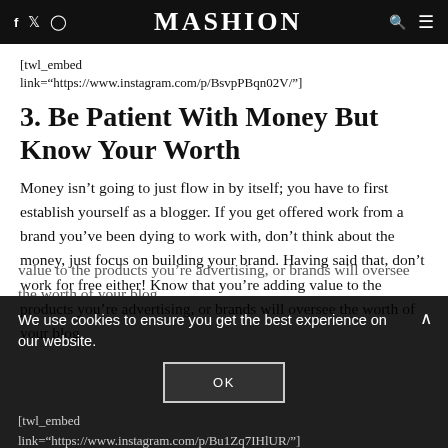f  twitter  instagram   MASHION   search  menu
[twl_embed link="https://www.instagram.com/p/BsvpPBqn02V/"]
3. Be Patient With Money But Know Your Worth
Money isn't going to just flow in by itself; you have to first establish yourself as a blogger. If you get offered work from a brand you've been dying to work with, don't think about the money, just focus on building your brand. Having said that, don't work for free either! Know that you're adding value to the products you're advertising, or brands will oversee the worth of your blog.
We use cookies to ensure you get the best experience on our website.
OK
[twl_embed link="https://www.instagram.com/p/Bu1Zq7IHlUR/"]